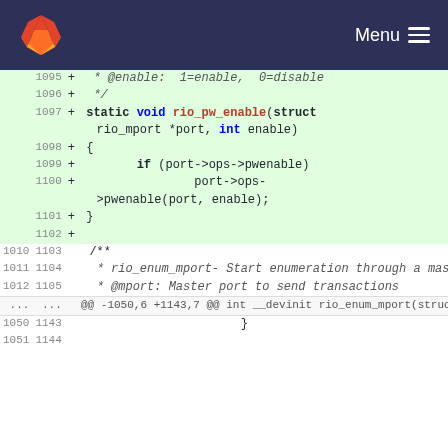GitLab Menu
[Figure (screenshot): Code diff view showing added lines for static void rio_pw_enable function and surrounding context in a C source file, with line numbers in two columns (old and new).]